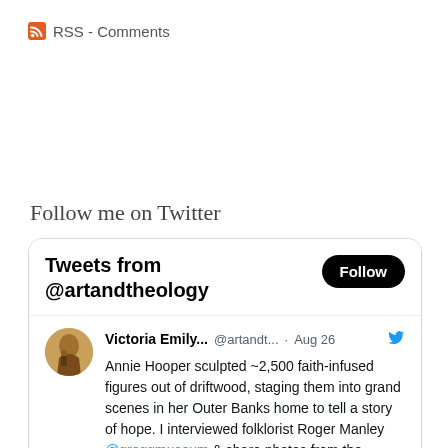RSS - Comments
Follow me on Twitter
[Figure (screenshot): Twitter widget showing 'Tweets from @artandtheology' with a Follow button and a tweet by Victoria Emily... @artandt... · Aug 26 about Annie Hooper sculpting ~2,500 faith-infused figures out of driftwood, staging them into grand scenes in her Outer Banks home to tell a story of hope. I interviewed folklorist Roger Manley @greggmuseum & share photos from the current @FolkArtMuseum]